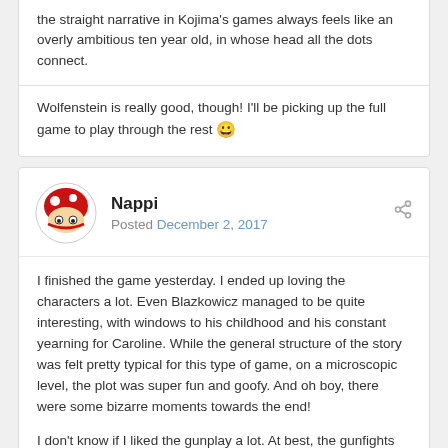the straight narrative in Kojima's games always feels like an overly ambitious ten year old, in whose head all the dots connect.
Wolfenstein is really good, though! I'll be picking up the full game to play through the rest 😀
Nappi
Posted December 2, 2017
I finished the game yesterday. I ended up loving the characters a lot. Even Blazkowicz managed to be quite interesting, with windows to his childhood and his constant yearning for Caroline. While the general structure of the story was felt pretty typical for this type of game, on a microscopic level, the plot was super fun and goofy. And oh boy, there were some bizarre moments towards the end!
I don't know if I liked the gunplay a lot. At best, the gunfights felt hectic and badass, but then you make the mistake of trying to pick up a heavy weapon and the prompt simply keeps eluding you. Or else you get stuck in a doorway or a small step or something for no apparent reason.